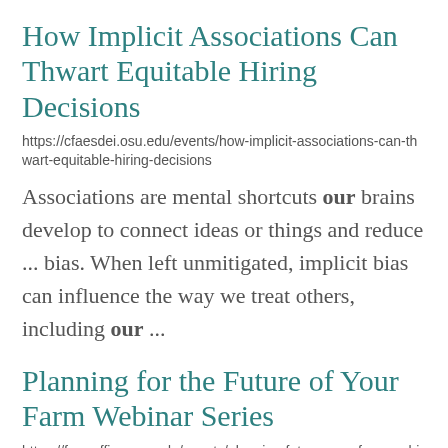How Implicit Associations Can Thwart Equitable Hiring Decisions
https://cfaesdei.osu.edu/events/how-implicit-associations-can-thwart-equitable-hiring-decisions
Associations are mental shortcuts our brains develop to connect ideas or things and reduce ... bias. When left unmitigated, implicit bias can influence the way we treat others, including our ...
Planning for the Future of Your Farm Webinar Series
https://farmoffice.osu.edu/events/planning-future-your-farm-webinar-series